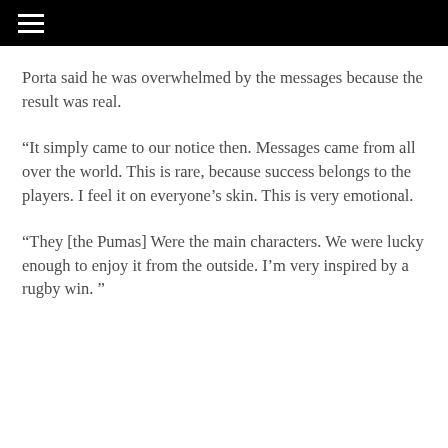Porta said he was overwhelmed by the messages because the result was real.
“It simply came to our notice then. Messages came from all over the world. This is rare, because success belongs to the players. I feel it on everyone’s skin. This is very emotional.
“They [the Pumas] Were the main characters. We were lucky enough to enjoy it from the outside. I’m very inspired by a rugby win. ”